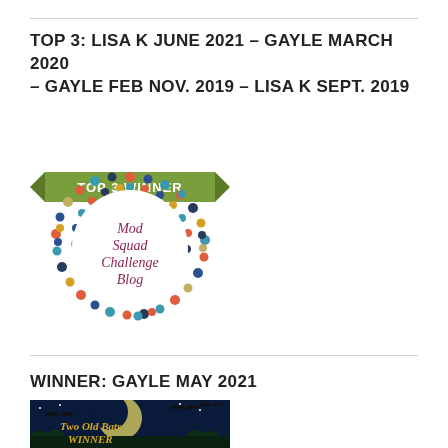TOP 3: LISA K JUNE 2021 – GAYLE MARCH 2020 – GAYLE FEB NOV. 2019 – LISA K SEPT. 2019
[Figure (logo): Top 3 Winner badge for Mod Squad Challenge Blog — circular badge with colorful polka dots and a green ribbon banner on top reading TOP 3 WINNER, with text Mod Squad Challenge Blog in the center]
WINNER: GAYLE MAY 2021
[Figure (logo): Two Old Bats Winner badge — dark blue/night sky background with a full moon, bats silhouettes, and gold text reading Two Old Bats WINNER]